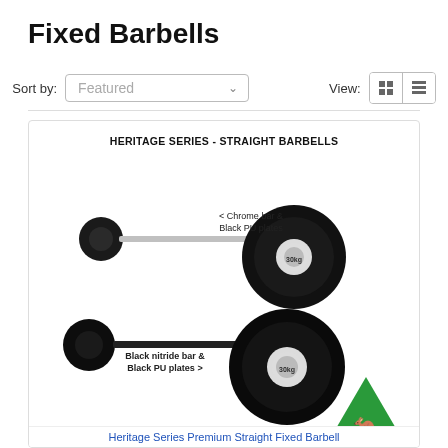Fixed Barbells
Sort by: Featured View:
[Figure (photo): Product card showing Heritage Series - Straight Barbells. Two straight barbells displayed: upper one with chrome bar and black PU plates labeled '< Chrome bar & Black PU plates', lower one with black nitride bar and black PU plates labeled 'Black nitride bar & Black PU plates >'. An Australian Made logo (green triangle with kangaroo) is visible in the bottom right. Product name 'Heritage Series Premium Straight Fixed Barbell' appears at the bottom.]